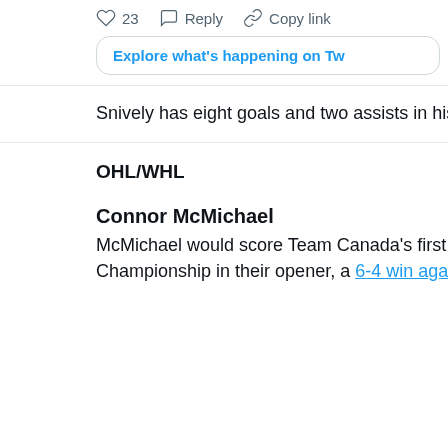[Figure (screenshot): ]
Snively has eight goals and two assists in his last 15 game
OHL/WHL
Connor McMichael
McMichael would score Team Canada's first goal of the 20 Championship in their opener, a 6-4 win against Team USA